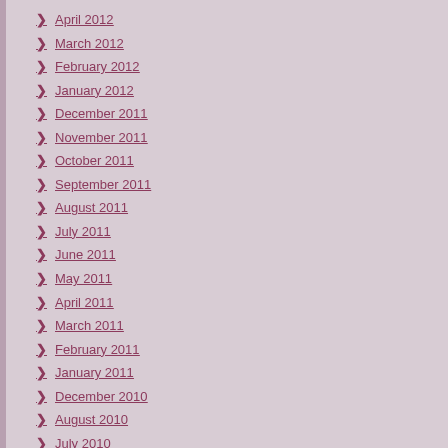April 2012
March 2012
February 2012
January 2012
December 2011
November 2011
October 2011
September 2011
August 2011
July 2011
June 2011
May 2011
April 2011
March 2011
February 2011
January 2011
December 2010
August 2010
July 2010
CATEGORIES